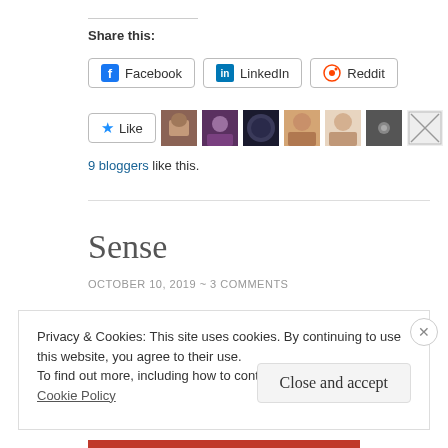Share this:
Facebook  LinkedIn  Reddit
[Figure (other): Like button with star icon and 9 blogger avatar thumbnails]
9 bloggers like this.
Sense
OCTOBER 10, 2019 ~ 3 COMMENTS
Privacy & Cookies: This site uses cookies. By continuing to use this website, you agree to their use.
To find out more, including how to control cookies, see here: Cookie Policy
Close and accept